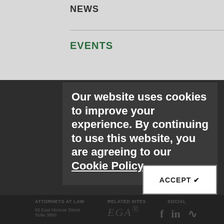NEWS
EVENTS
PUBLICATIONS
GET UPDATES
MEDIA KIT
Our website uses cookies to improve your experience. By continuing to use this website, you are agreeing to our Cookie Policy.
ACCEPT ✔
ATTORNEYS AT LAW   RELATED SITES   SOCIAL
55 East Monroe Street Suite 3800